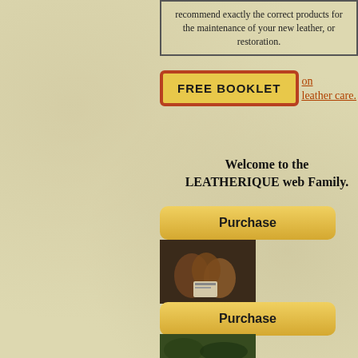recommend exactly the correct products for the maintenance of your new leather, or restoration.
FREE BOOKLET on leather care.
Welcome to the LEATHERIQUE web Family.
[Figure (screenshot): Purchase button - golden rounded rectangle with bold text 'Purchase']
[Figure (photo): Product photo showing leather care products arranged on dark background]
[Figure (screenshot): Second Purchase button - golden rounded rectangle with bold text 'Purchase']
[Figure (photo): Second product photo partially visible at bottom]